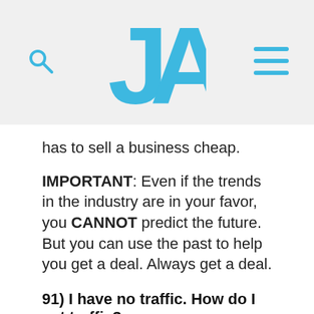JA [logo with search and hamburger menu icons]
has to sell a business cheap.
IMPORTANT: Even if the trends in the industry are in your favor, you CANNOT predict the future. But you can use the past to help you get a deal. Always get a deal.
91) I have no traffic. How do I get traffic?
Shut down your business.
92) Should I hire a PR firm?
No. Do guerilla marketing. Read